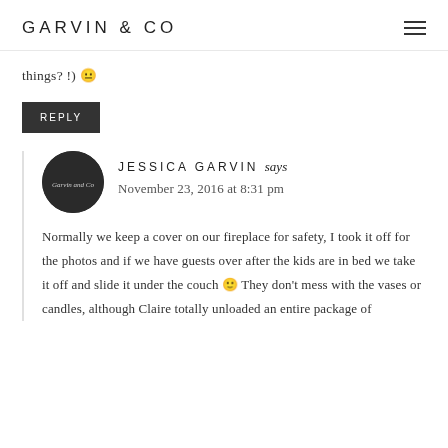GARVIN & CO
things? !) 😐
REPLY
JESSICA GARVIN says
November 23, 2016 at 8:31 pm
Normally we keep a cover on our fireplace for safety, I took it off for the photos and if we have guests over after the kids are in bed we take it off and slide it under the couch 🙂 They don't mess with the vases or candles, although Claire totally unloaded an entire package of